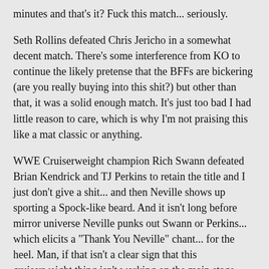minutes and that's it? Fuck this match... seriously.
Seth Rollins defeated Chris Jericho in a somewhat decent match. There's some interference from KO to continue the likely pretense that the BFFs are bickering (are you really buying into this shit?) but other than that, it was a solid enough match. It's just too bad I had little reason to care, which is why I'm not praising this like a mat classic or anything.
WWE Cruiserweight champion Rich Swann defeated Brian Kendrick and TJ Perkins to retain the title and I just don't give a shit... and then Neville shows up sporting a Spock-like beard. And it isn't long before mirror universe Neville punks out Swann or Perkins... which elicits a "Thank You Neville" chant... for the heel. Man, if that isn't a clear sign that this cruiserweight thing isn't working on the main stage, then I don't know what is.
To the surprise of absolutely fuck all, Charlotte beats Women's champ Sasha Banks in a 30-minute Tony Stark match to win the title again. Gee, what a shock. (Read: not a shock.) There's a bit of color here where Sasha is bleeding from the mouth, but I don't care. I stopped caring about anything between these two for a good